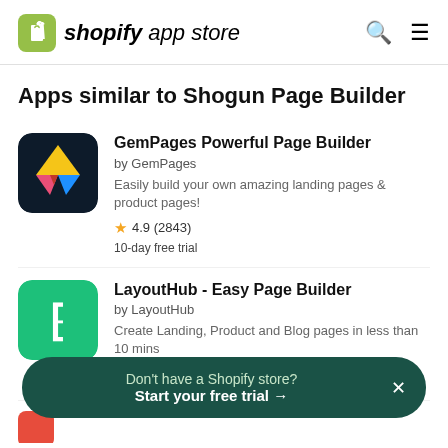shopify app store
Apps similar to Shogun Page Builder
GemPages Powerful Page Builder
by GemPages
Easily build your own amazing landing pages & product pages!
4.9 (2843)
10-day free trial
LayoutHub - Easy Page Builder
by LayoutHub
Create Landing, Product and Blog pages in less than 10 mins
4.9 (2381)
Don't have a Shopify store? Start your free trial →